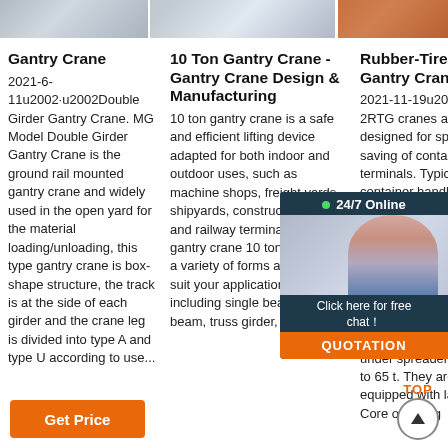[Figure (photo): Top strip with three images: industrial/crane scene (left), factory/crane scene (middle), orange/red background (right)]
Gantry Crane
2021-6-11u2002·u2002Double Girder Gantry Crane. MG Model Double Girder Gantry Crane is the ground rail mounted gantry crane and widely used in the open yard for the material loading/unloading, this type gantry crane is box-shape structure, the track is at the side of each girder and the crane leg is divided into type A and type U according to use...
10 Ton Gantry Crane - Gantry Crane Design & Manufacturing
10 ton gantry crane is a safe and efficient lifting device adapted for both indoor and outdoor uses, such as machine shops, freight yards, shipyards, construction sites and railway terminals. The gantry crane 10 ton comes in a variety of forms and sizes to suit your applications, including single beam, double beam, truss girder, semi-
Rubber-Tired Gantry Cranes
2021-11-19u2002RTG cranes are designed for space saving of container terminals. Typical top container handling performance can be configured with spans of six to eight container rows wide plus truck lane, stacking containers up to 1-over-6 high, with a lifting capacity under spreader of up to 65 t. They are equipped with latest Core of Lifting
[Figure (infographic): 24/7 Online chat overlay with agent photo and QUOTATION button]
[Figure (other): Get Price orange button (bottom left) and TOP scroll-to-top circle (bottom right)]